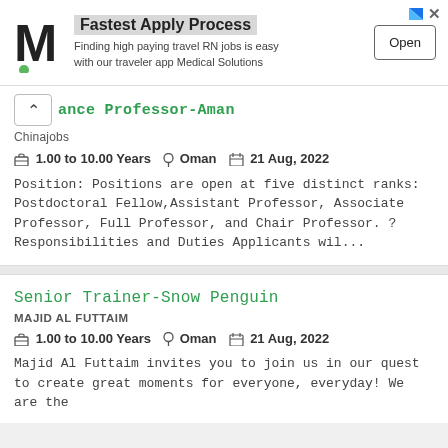[Figure (other): Advertisement banner for Medical Solutions job app featuring M logo, 'Fastest Apply Process' headline, descriptive text, and Open button]
ance Professor-Aman
Chinajobs
1.00 to 10.00 Years   Oman   21 Aug, 2022
Position: Positions are open at five distinct ranks: Postdoctoral Fellow,Assistant Professor, Associate Professor, Full Professor, and Chair Professor. ? Responsibilities and Duties Applicants wil...
Senior Trainer-Snow Penguin
MAJID AL FUTTAIM
1.00 to 10.00 Years   Oman   21 Aug, 2022
Majid Al Futtaim invites you to join us in our quest to create great moments for everyone, everyday! We are the